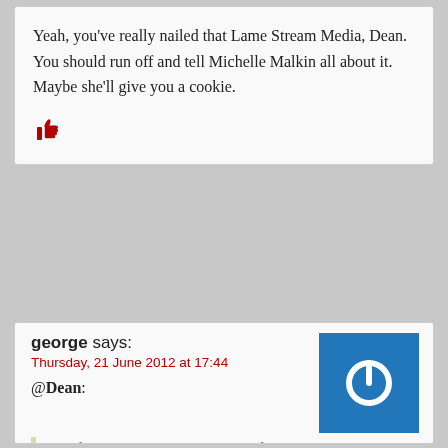Yeah, you've really nailed that Lame Stream Media, Dean. You should run off and tell Michelle Malkin all about it. Maybe she'll give you a cookie.
[Figure (illustration): Red thumbs up icon]
george says:
Thursday, 21 June 2012 at 17:44
[Figure (illustration): Blue square avatar with white power button icon]
@Dean:
It is fully expected that members of the political parties will draw up sides in these types of disputes. No surprise there. However, when the paper of record draws up sides, which it clearly has done here, it does support the argument of a biased hypocritical press.
Yes, but not just from one side. The GOP press (so to speak) such as Fox does the same thing. The press isn't a monolith, it's divided as much as football fans are, and its different